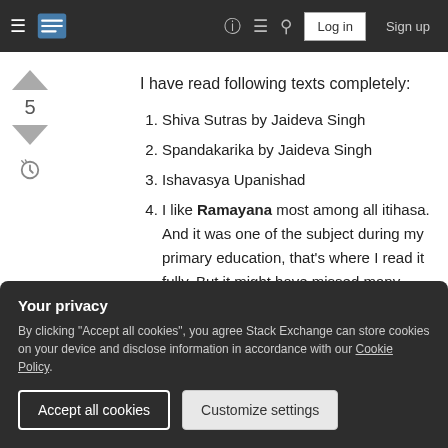Stack Exchange navigation header with hamburger menu, logo, help, chat, search icons, Log in and Sign up buttons
I have read following texts completely:
1. Shiva Sutras by Jaideva Singh
2. Spandakarika by Jaideva Singh
3. Ishavasya Upanishad
4. I like Ramayana most among all itihasa. And it was one of the subject during my primary education, that's where I read it fully. But it might have missed many events which would
Your privacy
By clicking "Accept all cookies", you agree Stack Exchange can store cookies on your device and disclose information in accordance with our Cookie Policy.
Accept all cookies  Customize settings